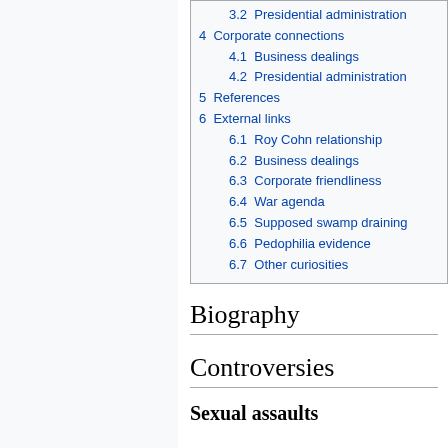3.2 Presidential administration
4 Corporate connections
4.1 Business dealings
4.2 Presidential administration
5 References
6 External links
6.1 Roy Cohn relationship
6.2 Business dealings
6.3 Corporate friendliness
6.4 War agenda
6.5 Supposed swamp draining
6.6 Pedophilia evidence
6.7 Other curiosities
Biography
Controversies
Sexual assaults